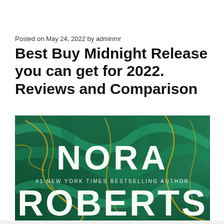Posted on May 24, 2022 by adminmr
Best Buy Midnight Release you can get for 2022. Reviews and Comparison
[Figure (photo): Book cover showing 'NORA ROBERTS' in large white text on a green and gold marbled background, with text '#1 NEW YORK TIMES BESTSELLING AUTHOR']